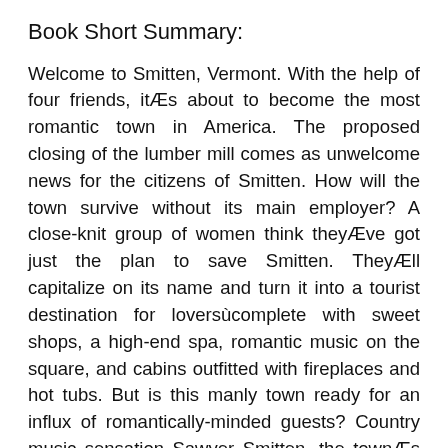Book Short Summary:
Welcome to Smitten, Vermont. With the help of four friends, itÆs about to become the most romantic town in America. The proposed closing of the lumber mill comes as unwelcome news for the citizens of Smitten. How will the town survive without its main employer? A close-knit group of women think theyÆve got just the plan to save Smitten. TheyÆll capitalize on its name and turn it into a tourist destination for loversùcomplete with sweet shops, a high-end spa, romantic music on the square, and cabins outfitted with fireplaces and hot tubs. But is this manly town ready for an influx of romantically-minded guests? Country music sensation Sawyer Smitten, the townÆs hometown hero, wants to help by holding his